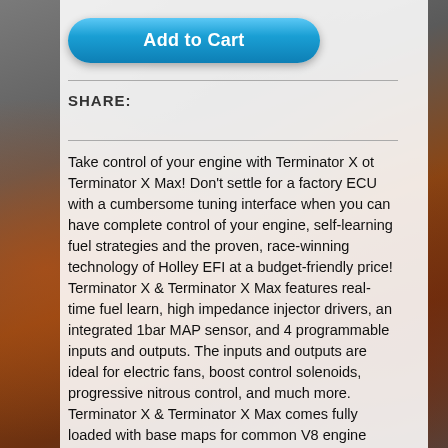[Figure (photo): Background photo of orange/brown muscle car in a garage or showroom setting, partially visible behind the white content overlay panel]
Add to Cart
SHARE:
Take control of your engine with Terminator X ot Terminator X Max! Don't settle for a factory ECU with a cumbersome tuning interface when you can have complete control of your engine, self-learning fuel strategies and the proven, race-winning technology of Holley EFI at a budget-friendly price! Terminator X & Terminator X Max features real-time fuel learn, high impedance injector drivers, an integrated 1bar MAP sensor, and 4 programmable inputs and outputs. The inputs and outputs are ideal for electric fans, boost control solenoids, progressive nitrous control, and much more. Terminator X & Terminator X Max comes fully loaded with base maps for common V8 engine combinations to get you out of the garage and on the road/track fast. The 3.5" touch screen LCD handheld contains an easy to use calibration wizard as well as tuning and gauge display functions. Also included is